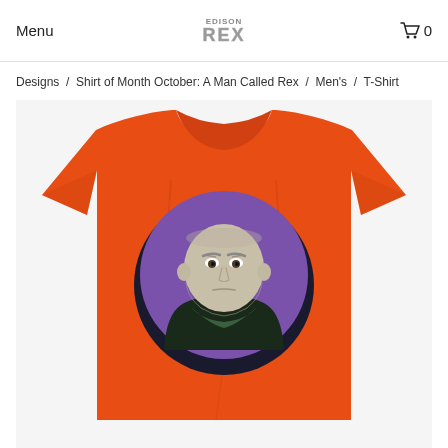Menu | EDISON REX | 0
Designs / Shirt of Month October: A Man Called Rex / Men's / T-Shirt
[Figure (photo): Orange t-shirt with a circular comic-book style graphic showing a muscular bald male character in a dark costume on a purple background, centered on the chest of the shirt.]